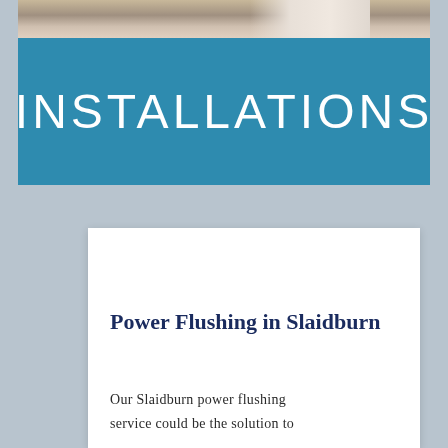[Figure (photo): Close-up photo of hands working, partially visible at the top of the page behind the installations banner]
INSTALLATIONS
Power Flushing in Slaidburn
Our Slaidburn power flushing service could be the solution to